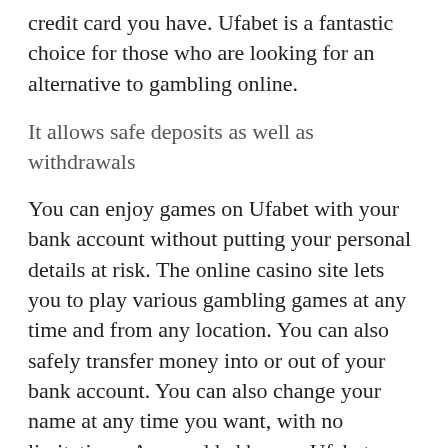credit card you have. Ufabet is a fantastic choice for those who are looking for an alternative to gambling online.
It allows safe deposits as well as withdrawals
You can enjoy games on Ufabet with your bank account without putting your personal details at risk. The online casino site lets you to play various gambling games at any time and from any location. You can also safely transfer money into or out of your bank account. You can also change your name at any time you want, with no limitations. As an added bonus, Ufabet allows you to play from different devices.
Ufabet has a legal status and is easy to use. The banking options available include Visa as well as MasterCard. It is quick and simple to withdraw funds, deposits are secure. You can place bets at any time you